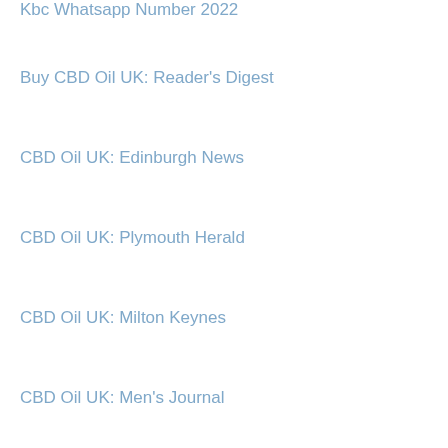Kbc Whatsapp Number 2022
Buy CBD Oil UK: Reader's Digest
CBD Oil UK: Edinburgh News
CBD Oil UK: Plymouth Herald
CBD Oil UK: Milton Keynes
CBD Oil UK: Men's Journal
CBD Oil UK: Cornwall Live